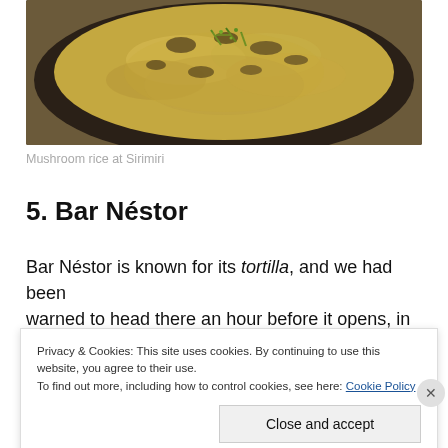[Figure (photo): A dark bowl filled with mushroom rice, garnished with green chives, photographed from above. The bowl has a dark rim and sits on a wooden surface.]
Mushroom rice at Sirimiri
5. Bar Néstor
Bar Néstor is known for its tortilla, and we had been warned to head there an hour before it opens, in order to
Privacy & Cookies: This site uses cookies. By continuing to use this website, you agree to their use.
To find out more, including how to control cookies, see here: Cookie Policy
Close and accept